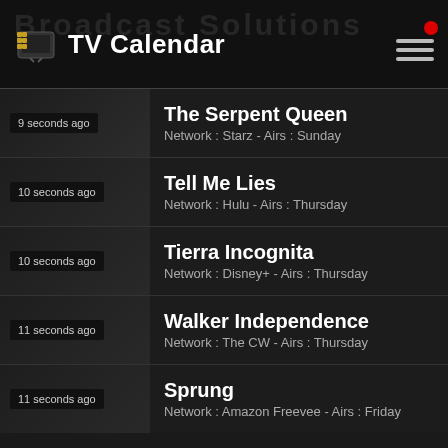TV Calendar
The Serpent Queen
Network : Starz - Airs : Sunday
9 seconds ago
Tell Me Lies
Network : Hulu - Airs : Thursday
10 seconds ago
Tierra Incognita
Network : Disney+ - Airs : Thursday
10 seconds ago
Walker Independence
Network : The CW - Airs : Thursday
11 seconds ago
Sprung
Network : Amazon Freevee - Airs : Friday
11 seconds ago
Currently Popular